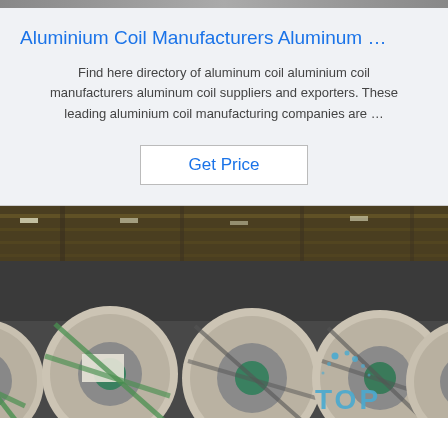[Figure (photo): Narrow dark strip at top of page, partial image of industrial setting]
Aluminium Coil Manufacturers Aluminum …
Find here directory of aluminum coil aluminium coil manufacturers aluminum coil suppliers and exporters. These leading aluminium coil manufacturing companies are …
Get Price
[Figure (photo): Warehouse interior with large aluminium coils wrapped in paper/cardboard standing on end, industrial ceiling with cranes visible above. TOP watermark in bottom right corner.]